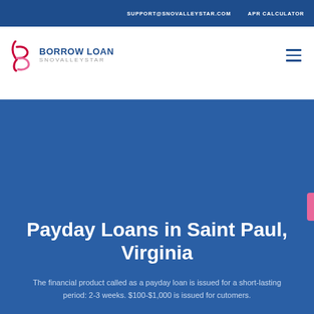SUPPORT@SNOVALLEYSTAR.COM   APR CALCULATOR
[Figure (logo): Borrow Loan SnovalleyStar logo with stylized 'b' icon in pink/red and blue text]
Payday Loans in Saint Paul, Virginia
The financial product called as a payday loan is issued for a short-lasting period: 2-3 weeks. $100-$1,000 is issued for cutomers.